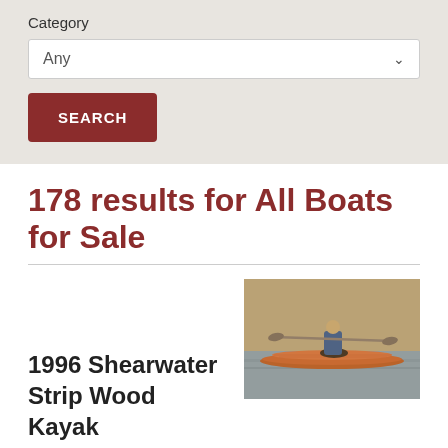Category
Any
SEARCH
178 results for All Boats for Sale
[Figure (photo): Person paddling a wood strip kayak on calm water]
1996 Shearwater Strip Wood Kayak
Hand Built by Eric Schade of Shearwater Boats in 1996. 19' long - 21" wide. Strip Wood construction of White & Yellow Cedar, Redwood & Teak. Brass